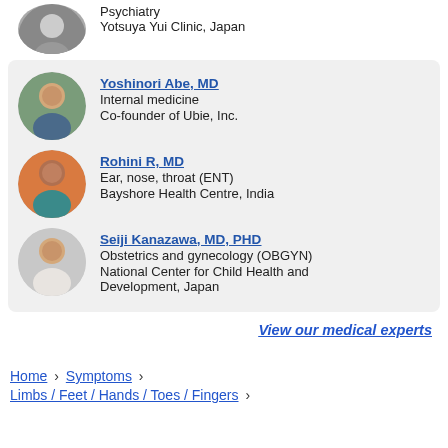[Figure (photo): Partial circular photo of a doctor at top of page, cropped]
Psychiatry
Yotsuya Yui Clinic, Japan
[Figure (photo): Circular photo of Yoshinori Abe, MD]
Yoshinori Abe, MD
Internal medicine
Co-founder of Ubie, Inc.
[Figure (photo): Circular photo of Rohini R, MD]
Rohini R, MD
Ear, nose, throat (ENT)
Bayshore Health Centre, India
[Figure (photo): Circular photo of Seiji Kanazawa, MD, PHD]
Seiji Kanazawa, MD, PHD
Obstetrics and gynecology (OBGYN)
National Center for Child Health and Development, Japan
View our medical experts
Home › Symptoms › Limbs / Feet / Hands / Toes / Fingers ›